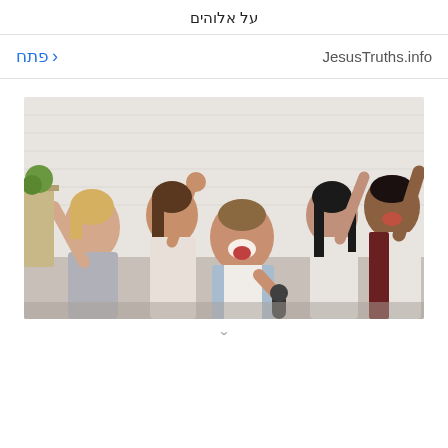על אלוהים
JesusTruths.info   פתח <
[Figure (photo): Group of young people celebrating and singing karaoke, man in foreground holding microphone with mouth open singing, others in background with hands raised cheering, indoor setting with white brick wall]
ˇ